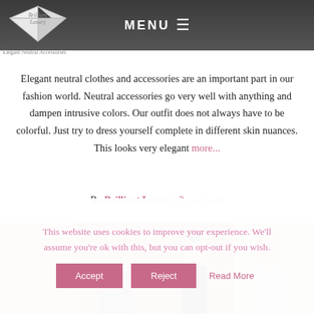MENU
[Figure (logo): Brilliant Luxury diamond logo with text 'Brilliant Luxury' and tagline 'Elegant Neutral Accessories']
Elegant Neutral Accessories
Elegant neutral clothes and accessories are an important part in our fashion world. Neutral accessories go very well with anything and dampen intrusive colors. Our outfit does not always have to be colorful. Just try to dress yourself complete in different skin nuances. This looks very elegant more...
By Brilliant Luxury, 3 years ago
[Figure (photo): Fashion runway photo showing models in neutral, skin-toned outfits including beige, white, and black ensembles]
This website uses cookies to improve your experience. We'll assume you're ok with this, but you can opt-out if you wish.